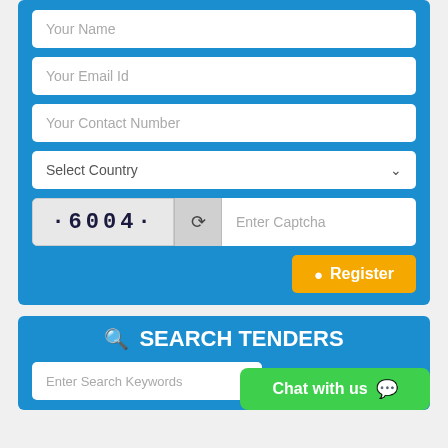[Figure (screenshot): Registration form with fields: Your Name, Your Email Id, Your Contact Number, Select Country dropdown, CAPTCHA (showing 6004) with refresh button and Enter Captcha input, and a Register button]
[Figure (screenshot): Search Tenders section with search icon and title 'SEARCH TENDERS', an 'Enter Search Keywords' input field, and a 'Chat with us' green button]